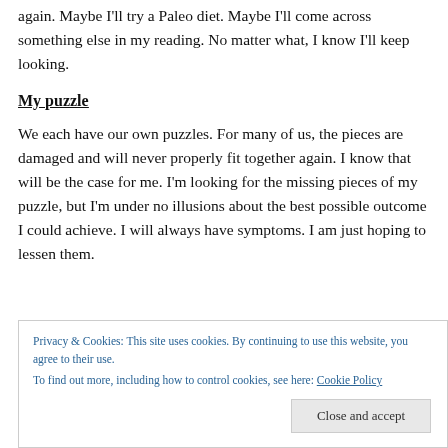again. Maybe I'll try a Paleo diet. Maybe I'll come across something else in my reading. No matter what, I know I'll keep looking.
My puzzle
We each have our own puzzles. For many of us, the pieces are damaged and will never properly fit together again. I know that will be the case for me. I'm looking for the missing pieces of my puzzle, but I'm under no illusions about the best possible outcome I could achieve. I will always have symptoms. I am just hoping to lessen them.
Privacy & Cookies: This site uses cookies. By continuing to use this website, you agree to their use. To find out more, including how to control cookies, see here: Cookie Policy
Maybe you're working on fixing the damaged pieces. Or